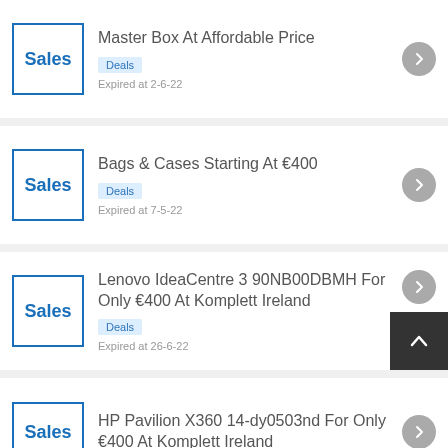Master Box At Affordable Price
Deals
Expired at 2-6-22
Bags & Cases Starting At €400
Deals
Expired at 7-5-22
Lenovo IdeaCentre 3 90NB00DBMH For Only €400 At Komplett Ireland
Deals
Expired at 26-6-22
HP Pavilion X360 14-dy0503nd For Only €400 At Komplett Ireland